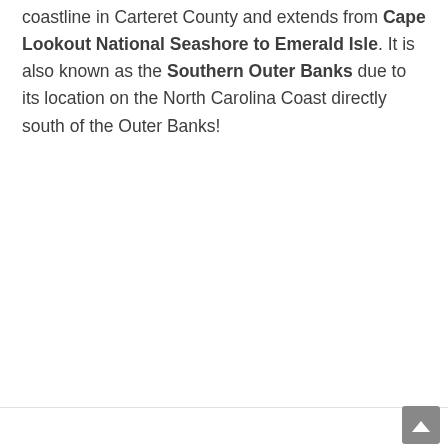coastline in Carteret County and extends from Cape Lookout National Seashore to Emerald Isle. It is also known as the Southern Outer Banks due to its location on the North Carolina Coast directly south of the Outer Banks!